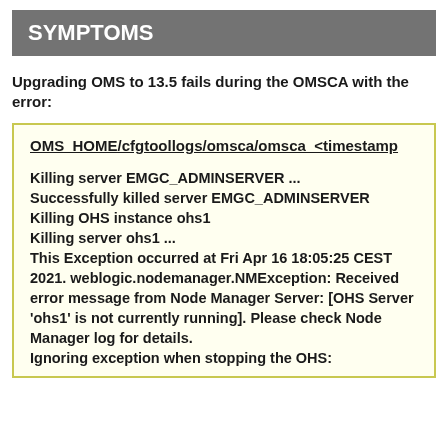SYMPTOMS
Upgrading OMS to 13.5 fails during the OMSCA with the error:
OMS_HOME/cfgtoollogs/omsca/omsca_<timestamp

Killing server EMGC_ADMINSERVER ...
Successfully killed server EMGC_ADMINSERVER
Killing OHS instance ohs1
Killing server ohs1 ...
This Exception occurred at Fri Apr 16 18:05:25 CEST 2021. weblogic.nodemanager.NMException: Received error message from Node Manager Server: [OHS Server 'ohs1' is not currently running]. Please check Node Manager log for details.
Ignoring exception when stopping the OHS: